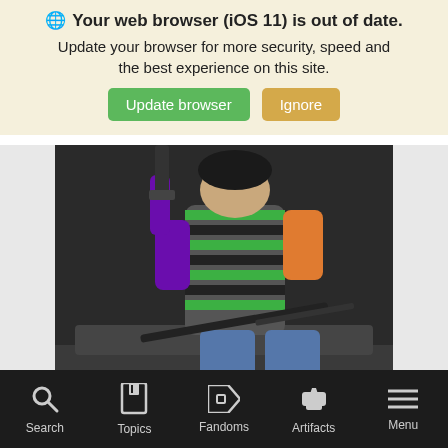🌐 Your web browser (iOS 11) is out of date. Update your browser for more security, speed and the best experience on this site.
Update browser | Ignore
[Figure (illustration): Book cover illustration showing a character in a striped green and black shirt sitting on what appears to be a vehicle, holding a weapon. Text at bottom reads KEVIN MCDONALD.]
It's                             that the ph                                                      ublished
About the Author
Search   Topics   Fandoms   Artifacts   Menu